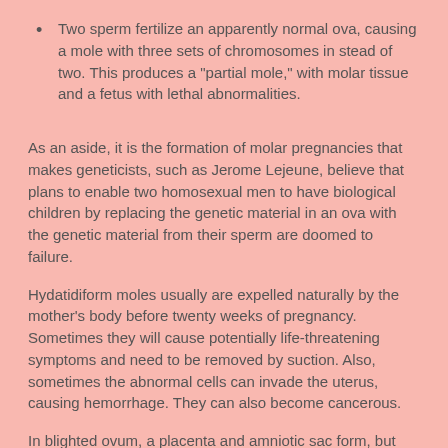Two sperm fertilize an apparently normal ova, causing a mole with three sets of chromosomes in stead of two. This produces a "partial mole," with molar tissue and a fetus with lethal abnormalities.
As an aside, it is the formation of molar pregnancies that makes geneticists, such as Jerome Lejeune, believe that plans to enable two homosexual men to have biological children by replacing the genetic material in an ova with the genetic material from their sperm are doomed to failure.
Hydatidiform moles usually are expelled naturally by the mother's body before twenty weeks of pregnancy. Sometimes they will cause potentially life-threatening symptoms and need to be removed by suction. Also, sometimes the abnormal cells can invade the uterus, causing hemorrhage. They can also become cancerous.
In blighted ovum, a placenta and amniotic sac form, but